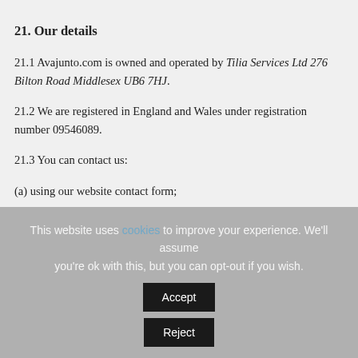21. Our details
21.1 Avajunto.com is owned and operated by Tilia Services Ltd 276 Bilton Road Middlesex UB6 7HJ.
21.2 We are registered in England and Wales under registration number 09546089.
21.3 You can contact us:
(a) using our website contact form;
(b) by email, using the email address published on our website from time to time.
(c) by telephone 07949 610 071
This website uses cookies to improve your experience. We'll assume you're ok with this, but you can opt-out if you wish.